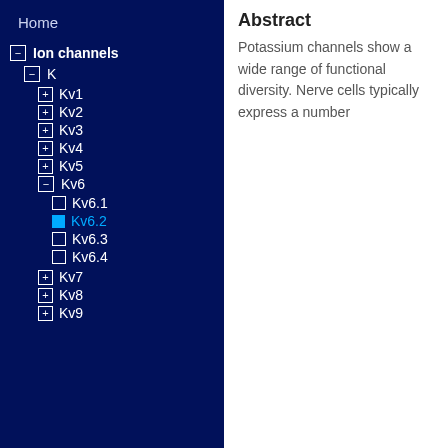Home
Ion channels
K
Kv1
Kv2
Kv3
Kv4
Kv5
Kv6
Kv6.1
Kv6.2
Kv6.3
Kv6.4
Kv7
Kv8
Kv9
Abstract
Potassium channels show a wide range of functional diversity. Nerve cells typically express a number